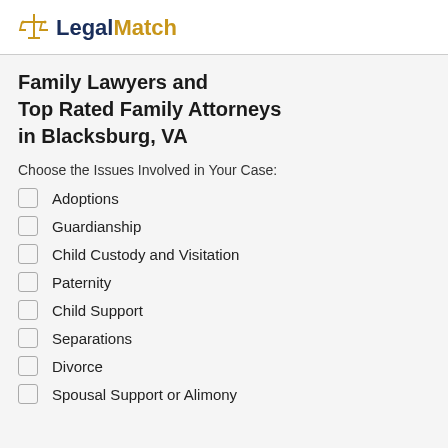LegalMatch
Family Lawyers and Top Rated Family Attorneys in Blacksburg, VA
Choose the Issues Involved in Your Case:
Adoptions
Guardianship
Child Custody and Visitation
Paternity
Child Support
Separations
Divorce
Spousal Support or Alimony